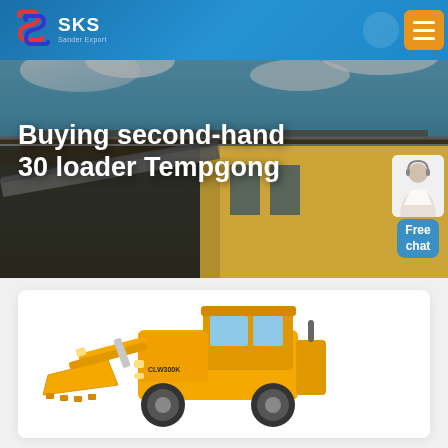[Figure (screenshot): SKS brand logo with stylized red and blue S letter mark, with text 'SKS' and subtitle 'Sander Export']
SKS Sander Export website header with navigation moon icon and orange menu button
Buying second-hand 30 loader Tempgong
[Figure (photo): Hero image showing demolished or under-construction building roof structure with blue sky background, overlaid with the page title]
[Figure (photo): A yellow front loader / wheel loader machine (CLW300K) on white background in a product card section]